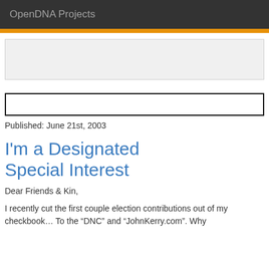OpenDNA Projects
[Figure (other): Advertisement placeholder box (light gray rectangle)]
[Figure (other): Search input box with black border]
Published: June 21st, 2003
I'm a Designated Special Interest
Dear Friends & Kin,
I recently cut the first couple election contributions out of my checkbook… To the “DNC” and “JohnKerry.com”. Why